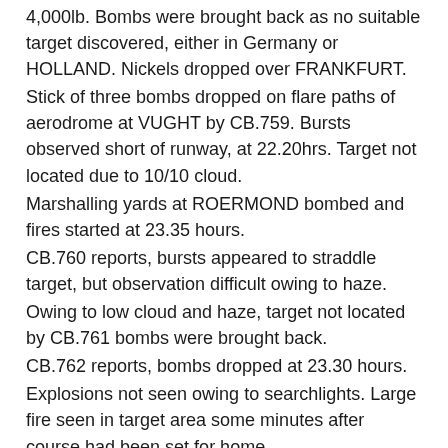4,000lb. Bombs were brought back as no suitable target discovered, either in Germany or HOLLAND. Nickels dropped over FRANKFURT.
Stick of three bombs dropped on flare paths of aerodrome at VUGHT by CB.759. Bursts observed short of runway, at 22.20hrs. Target not located due to 10/10 cloud.
Marshalling yards at ROERMOND bombed and fires started at 23.35 hours.
CB.760 reports, bursts appeared to straddle target, but observation difficult owing to haze.
Owing to low cloud and haze, target not located by CB.761 bombs were brought back.
CB.762 reports, bombs dropped at 23.30 hours.
Explosions not seen owing to searchlights. Large fire seen in target area some minutes after course had been set for home.
CB.746, who was detailed to carry Photographic